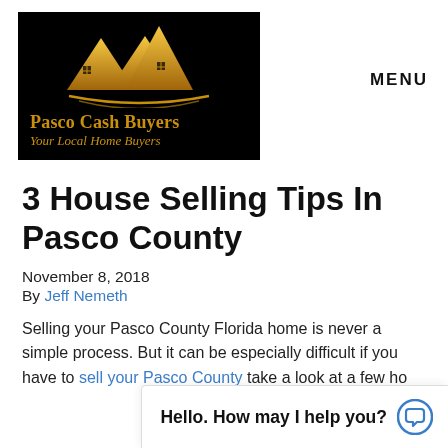[Figure (logo): Pasco Cash Buyers logo — black background with gold mountain/house roofline icon, text 'Pasco Cash Buyers' and 'Your Local Home Buyers' in gold]
MENU
3 House Selling Tips In Pasco County
November 8, 2018
By Jeff Nemeth
Selling your Pasco County Florida home is never a simple process. But it can be especially difficult if you have to sell your Pasco County... take a look at a few ho...
[Figure (screenshot): Chat widget overlay showing text 'Hello. How may I help you?' with a speech bubble icon]